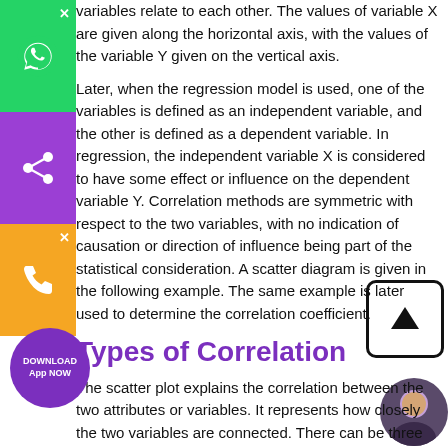variables relate to each other. The values of variable X are given along the horizontal axis, with the values of the variable Y given on the vertical axis.
Later, when the regression model is used, one of the variables is defined as an independent variable, and the other is defined as a dependent variable. In regression, the independent variable X is considered to have some effect or influence on the dependent variable Y. Correlation methods are symmetric with respect to the two variables, with no indication of causation or direction of influence being part of the statistical consideration. A scatter diagram is given in the following example. The same example is later used to determine the correlation coefficient.
Types of Correlation
The scatter plot explains the correlation between the two attributes or variables. It represents how closely the two variables are connected. There can be three such situations to define the relation between the two variables –
Positive Correlation – when the values of the two variables move in the same direction so that an